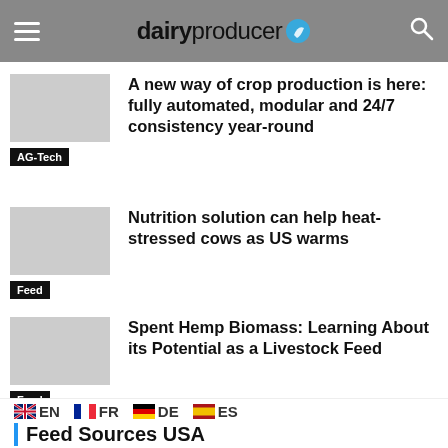dairyproducer
A new way of crop production is here: fully automated, modular and 24/7 consistency year-round
AG-Tech
Nutrition solution can help heat-stressed cows as US warms
Feed
Spent Hemp Biomass: Learning About its Potential as a Livestock Feed
Feed
EN  FR  DE  ES  Feed Sources USA